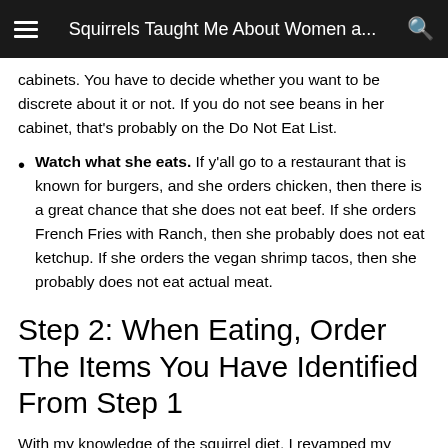Squirrels Taught Me About Women a...
cabinets. You have to decide whether you want to be discrete about it or not. If you do not see beans in her cabinet, that's probably on the Do Not Eat List.
Watch what she eats. If y'all go to a restaurant that is known for burgers, and she orders chicken, then there is a great chance that she does not eat beef. If she orders French Fries with Ranch, then she probably does not eat ketchup. If she orders the vegan shrimp tacos, then she probably does not eat actual meat.
Step 2: When Eating, Order The Items You Have Identified From Step 1
With my knowledge of the squirrel diet, I revamped my garden to include jalapeno peppers, lettuce, and turnip